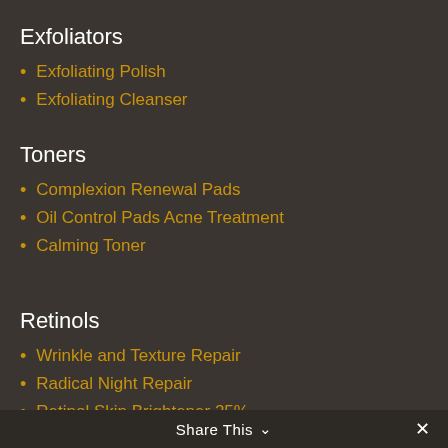Exfoliators
Exfoliating Polish
Exfoliating Cleanser
Toners
Complexion Renewal Pads
Oil Control Pads Acne Treatment
Calming Toner
Retinols
Wrinkle and Texture Repair
Radical Night Repair
Retinol Skin Brightener 25%
Retinol Skin Brightener 5%
Retinol Skin Brightener 1%
Share This ∨  ✕